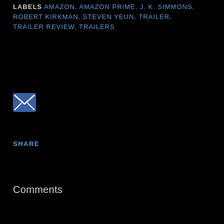LABELS AMAZON, AMAZON PRIME, J. K. SIMMONS, ROBERT KIRKMAN, STEVEN YEUN, TRAILER, TRAILER REVIEW, TRAILERS
[Figure (other): Email/share envelope icon, blue square with white envelope outline]
SHARE
Comments
[Figure (other): Generic gray user avatar circle icon]
Enter comment